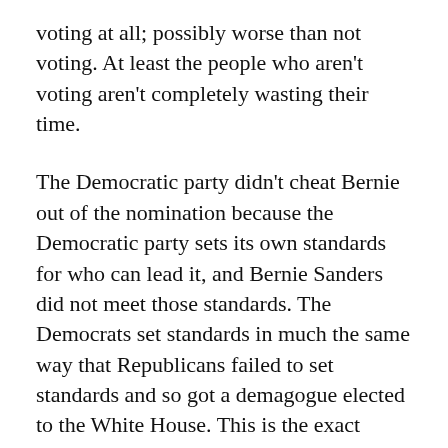voting at all; possibly worse than not voting. At least the people who aren't voting aren't completely wasting their time.
The Democratic party didn't cheat Bernie out of the nomination because the Democratic party sets its own standards for who can lead it, and Bernie Sanders did not meet those standards. The Democrats set standards in much the same way that Republicans failed to set standards and so got a demagogue elected to the White House. This is the exact failure of faction that Madison opined about. The failure of faction playing out in front of our faces But that doesn't alter the system that has to be maintained through the parties in the